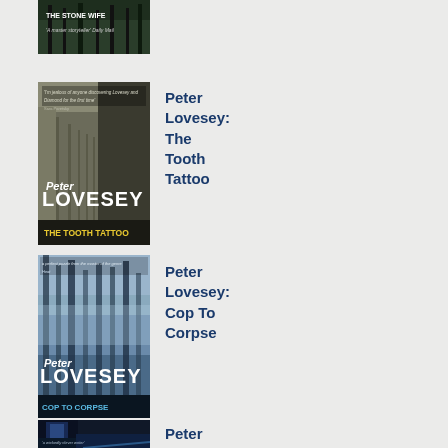[Figure (photo): Top portion of a book cover for 'The Stone Wife' by Peter Lovesey - partially visible at top of page]
[Figure (photo): Book cover for 'The Tooth Tattoo' by Peter Lovesey - shows stone archway colonnade with dark atmospheric image, author name Peter Lovesey prominent, title at bottom in yellow]
Peter Lovesey: The Tooth Tattoo
[Figure (photo): Book cover for 'Cop To Corpse' by Peter Lovesey - shows misty forest with tall trees, atmospheric blue tones, author name Peter Lovesey prominent, title at bottom in blue]
Peter Lovesey: Cop To Corpse
[Figure (photo): Book cover partially visible at bottom - dark atmospheric scene with blue lighting, interior space visible]
Peter Lovesey: